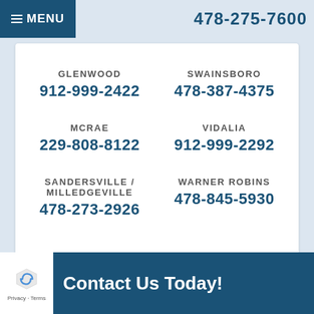MENU  478-275-7600
GLENWOOD
912-999-2422
SWAINSBORO
478-387-4375
MCRAE
229-808-8122
VIDALIA
912-999-2292
SANDERSVILLE / MILLEDGEVILLE
478-273-2926
WARNER ROBINS
478-845-5930
Contact Us Today!